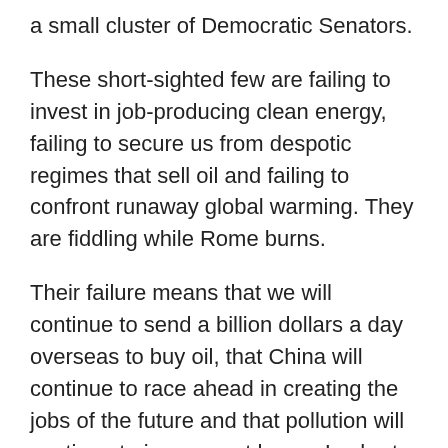a small cluster of Democratic Senators.
These short-sighted few are failing to invest in job-producing clean energy, failing to secure us from despotic regimes that sell oil and failing to confront runaway global warming. They are fiddling while Rome burns.
Their failure means that we will continue to send a billion dollars a day overseas to buy oil, that China will continue to race ahead in creating the jobs of the future and that pollution will continue to increase at home. In short, as our colleagues at Clean Energy Works said this afternoon, “China will get more of our jobs, the Middle East more of our money and Americans will be left with fewer jobs and more pollution.”